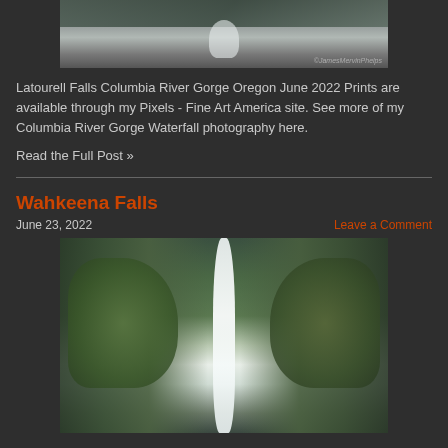[Figure (photo): Waterfall with mossy rocks and stream - Latourell Falls Columbia River Gorge Oregon, with watermark ©JamesMervinPhelps]
Latourell Falls Columbia River Gorge Oregon June 2022 Prints are available through my Pixels - Fine Art America site. See more of my Columbia River Gorge Waterfall photography here.
Read the Full Post »
Wahkeena Falls
June 23, 2022
Leave a Comment
[Figure (photo): Wahkeena Falls cascading down between mossy green cliff walls in Columbia River Gorge Oregon]